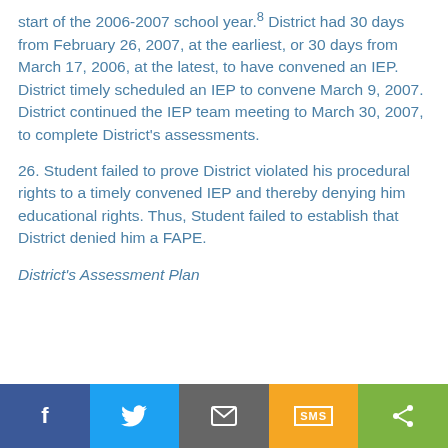start of the 2006-2007 school year.⁸ District had 30 days from February 26, 2007, at the earliest, or 30 days from March 17, 2006, at the latest, to have convened an IEP. District timely scheduled an IEP to convene March 9, 2007. District continued the IEP team meeting to March 30, 2007, to complete District's assessments.
26. Student failed to prove District violated his procedural rights to a timely convened IEP and thereby denying him educational rights. Thus, Student failed to establish that District denied him a FAPE.
District's Assessment Plan